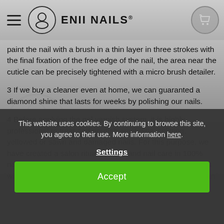ENII NAILS
paint the nail with a brush in a thin layer in three strokes with the final fixation of the free edge of the nail, the area near the cuticle can be precisely tightened with a micro brush detailer.
3 If we buy a cleaner even at home, we can guaranted a diamond shine that lasts for weeks by polishing our nails.
4 Before applying the gel varnish system, it is highly professional to treat and nourish any brittle, splitting, yellowed or sawn and damaged nails. For this purpose, we have created a salon ritual of hand and nail care in 100% natural aromatherapy quality with deeply nourishing serums with anti-aging effects ENII NATURAL. This nourishment can
This website uses cookies. By continuing to browse this site, you agree to their use. More information here.
Settings
Accept